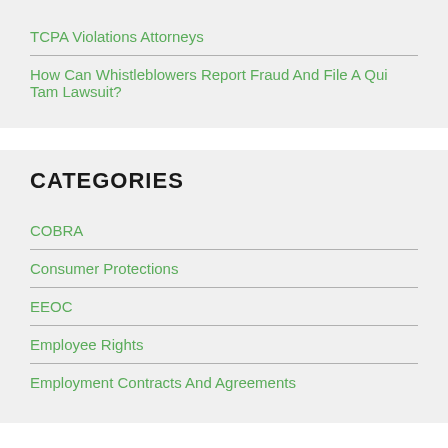TCPA Violations Attorneys
How Can Whistleblowers Report Fraud And File A Qui Tam Lawsuit?
CATEGORIES
COBRA
Consumer Protections
EEOC
Employee Rights
Employment Contracts And Agreements